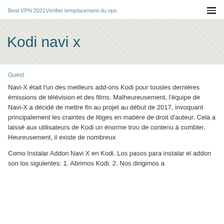Best VPN 2021Vérifier lemplacement du vpn
Kodi navi x
Guest
Navi-X était l'un des meilleurs add-ons Kodi pour tousles dernières émissions de télévision et des films. Malheureusement, l'équipe de Navi-X a décidé de mettre fin au projet au début de 2017, invoquant principalement les craintes de litiges en matière de droit d'auteur. Cela a laissé aux utilisateurs de Kodi un énorme trou de contenu à combler. Heureusement, il existe de nombreux
Como Instalar Addon Navi X en Kodi. Los pasos para instalar el addon son los siguientes: 1. Abrimos Kodi. 2. Nos dirigimos a